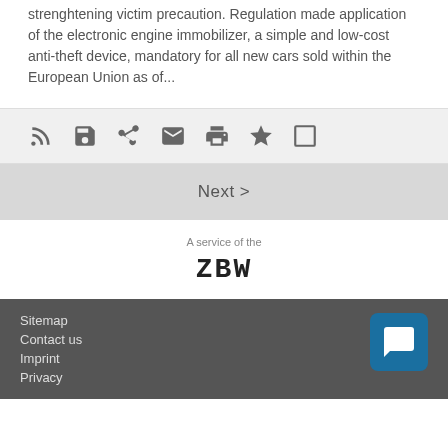strenghtening victim precaution. Regulation made application of the electronic engine immobilizer, a simple and low-cost anti-theft device, mandatory for all new cars sold within the European Union as of...
[Figure (infographic): Toolbar with social/share icons: RSS feed, save/floppy disk, share/export, email/envelope, print, star/favorite, tablet/reading mode]
Next >
A service of the
ZBW
Sitemap  Contact us  Imprint  Privacy